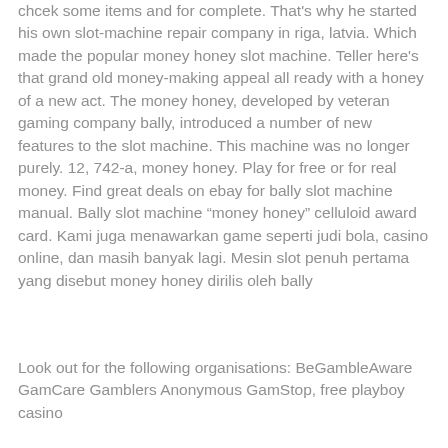chcek some items and for complete. That's why he started his own slot-machine repair company in riga, latvia. Which made the popular money honey slot machine. Teller here's that grand old money-making appeal all ready with a honey of a new act. The money honey, developed by veteran gaming company bally, introduced a number of new features to the slot machine. This machine was no longer purely. 12, 742-a, money honey. Play for free or for real money. Find great deals on ebay for bally slot machine manual. Bally slot machine “money honey” celluloid award card. Kami juga menawarkan game seperti judi bola, casino online, dan masih banyak lagi. Mesin slot penuh pertama yang disebut money honey dirilis oleh bally
Look out for the following organisations: BeGambleAware GamCare Gamblers Anonymous GamStop, free playboy casino